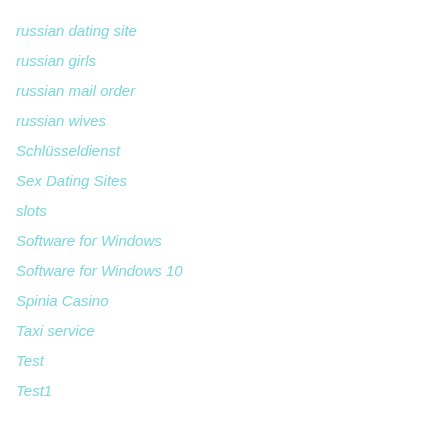russian dating site
russian girls
russian mail order
russian wives
Schlüsseldienst
Sex Dating Sites
slots
Software for Windows
Software for Windows 10
Spinia Casino
Taxi service
Test
Test1